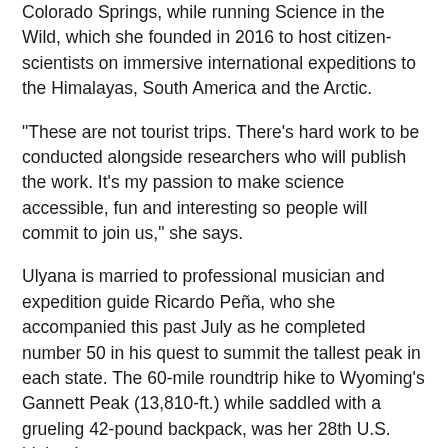Colorado Springs, while running Science in the Wild, which she founded in 2016 to host citizen-scientists on immersive international expeditions to the Himalayas, South America and the Arctic.
"These are not tourist trips. There's hard work to be conducted alongside researchers who will publish the work. It's my passion to make science accessible, fun and interesting so people will commit to join us," she says.
Ulyana is married to professional musician and expedition guide Ricardo Peña, who she accompanied this past July as he completed number 50 in his quest to summit the tallest peak in each state. The 60-mile roundtrip hike to Wyoming's Gannett Peak (13,810-ft.) while saddled with a grueling 42-pound backpack, was her 28th U.S. highpoint.
"I was drawn to geology and natural sciences - it was a career path that allowed me to pursue my passion for wild places which were imprinted upon me at an early age," she said while taking a break from her latest project: analyzing and interpreting climate data for the University of Alaska